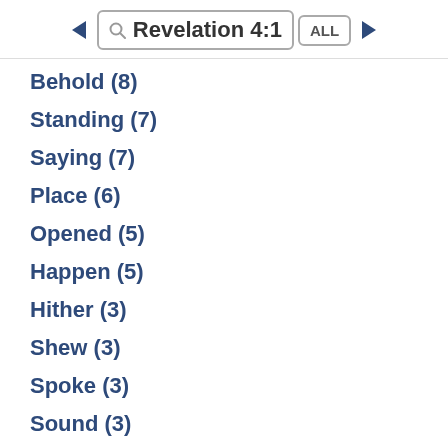Revelation 4:1  ALL
Behold (8)
Standing (7)
Saying (7)
Place (6)
Opened (5)
Happen (5)
Hither (3)
Shew (3)
Spoke (3)
Sound (3)
Hereafter (2)
Pass (2)